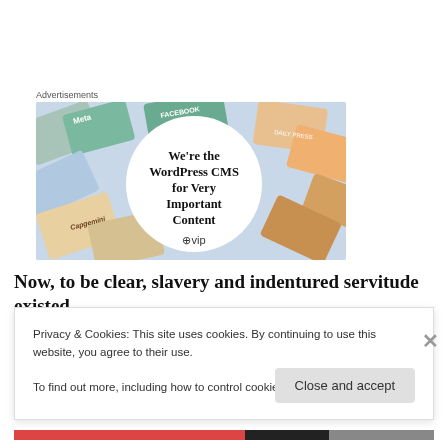Advertisements
[Figure (photo): WordPress VIP advertisement showing brand tiles including Meta, Facebook, Capgemini around a white circle with text 'We're the WordPress CMS for Very Important Content' and a WordPress VIP logo]
Now, to be clear, slavery and indentured servitude existed
Privacy & Cookies: This site uses cookies. By continuing to use this website, you agree to their use.
To find out more, including how to control cookies, see here: Cookie Policy
Close and accept